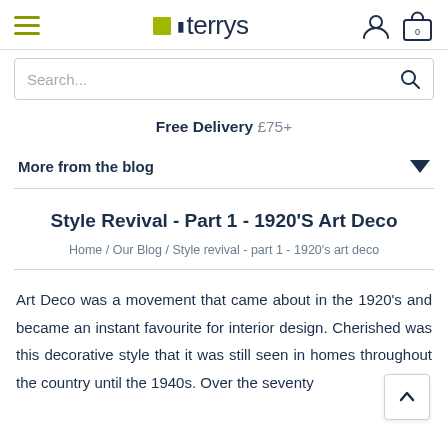terrys
Search...
Free Delivery £75+
More from the blog
Style Revival - Part 1 - 1920'S Art Deco
Home / Our Blog / Style revival - part 1 - 1920's art deco
Art Deco was a movement that came about in the 1920's and became an instant favourite for interior design. Cherished was this decorative style that it was still seen in homes throughout the country until the 1940s. Over the seventy